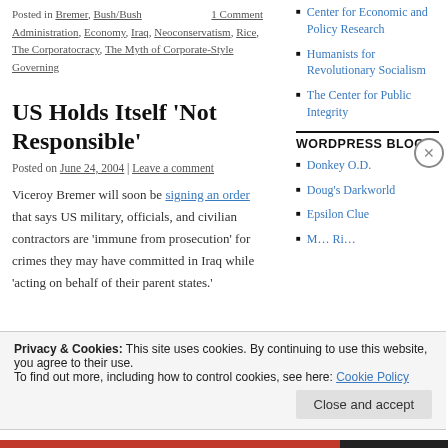Posted in Bremer, Bush/Bush Administration, Economy, Iraq, Neoconservatism, Rice, The Corporatocracy, The Myth of Corporate-Style Governing
1 Comment
Center for Economic and Policy Research
Humanists for Revolutionary Socialism
The Center for Public Integrity
WORDPRESS BLOGS
Donkey O.D.
Doug's Darkworld
Epsilon Clue
US Holds Itself 'Not Responsible'
Posted on June 24, 2004 | Leave a comment
Viceroy Bremer will soon be signing an order that says US military, officials, and civilian contractors are 'immune from prosecution' for crimes they may have committed in Iraq while 'acting on behalf of their parent states.'
Privacy & Cookies: This site uses cookies. By continuing to use this website, you agree to their use. To find out more, including how to control cookies, see here: Cookie Policy
Close and accept